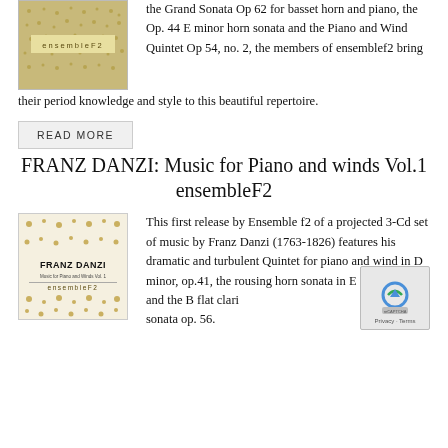[Figure (photo): Album cover for ensembleF2 with golden ornamental pattern on tan background, text 'ensembleF2' in center]
the Grand Sonata Op 62 for basset horn and piano, the Op. 44 E minor horn sonata and the Piano and Wind Quintet Op 54, no. 2, the members of ensemblef2 bring their period knowledge and style to this beautiful repertoire.
READ MORE
FRANZ DANZI: Music for Piano and winds Vol.1 ensembleF2
[Figure (photo): Album cover for Franz Danzi 'Music for Piano and Winds Vol. 1' by ensembleF2, white background with golden ornamental motifs, bold text 'FRANZ DANZI' and 'ensembleF2']
This first release by Ensemble f2 of a projected 3-Cd set of music by Franz Danzi (1763-1826) features his dramatic and turbulent Quintet for piano and wind in D minor, op.41, the rousing horn sonata in E flat op. 28 and the B flat clarinet sonata op. 56.